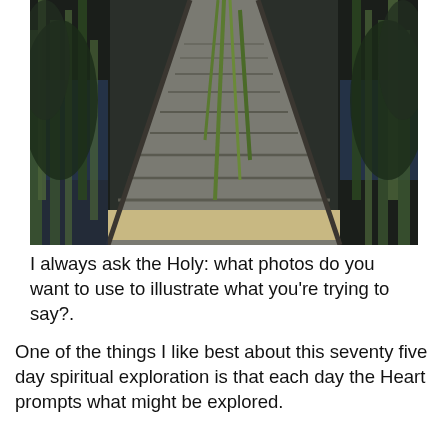[Figure (photo): A wooden boardwalk or dock stretching into a marshy wetland area, surrounded by green reeds and dark water, photographed from a low angle looking along its length into the distance.]
I always ask the Holy: what photos do you want to use to illustrate what you're trying to say?.
One of the things I like best about this seventy five day spiritual exploration is that each day the Heart prompts what might be explored.